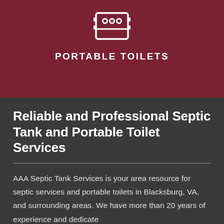[Figure (illustration): White line-art icon of a portable toilet on a dark red/maroon background]
PORTABLE TOILETS
Reliable and Professional Septic Tank and Portable Toilet Services
AAA Septic Tank Services is your area resource for septic services and portable toilets in Blacksburg, VA, and surrounding areas. We have more than 20 years of experience and dedicate